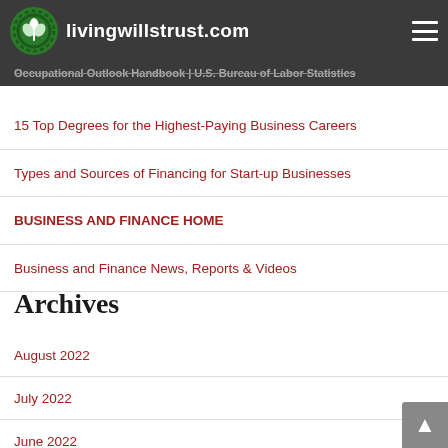livingwillstrust.com
Occupational Outlook Handbook | U.S. Bureau of Labor Statistics
15 Top Degrees for the Highest-Paying Business Careers
Types and Sources of Financing for Start-up Businesses
BUSINESS AND FINANCE HOME
Business and Finance News, Reports & Videos
Archives
August 2022
July 2022
June 2022
May 2022